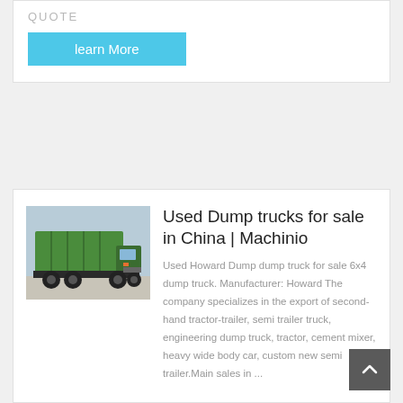QUOTE
learn More
[Figure (photo): A green dump truck (6x4) photographed from the rear-left angle in a lot, with a raised bed showing green slats.]
Used Dump trucks for sale in China | Machinio
Used Howard Dump dump truck for sale 6x4 dump truck. Manufacturer: Howard The company specializes in the export of second-hand tractor-trailer, semi trailer truck, engineering dump truck, tractor, cement mixer, heavy wide body car, custom new semi trailer.Main sales in ...